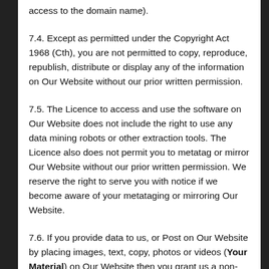access to the domain name).
7.4. Except as permitted under the Copyright Act 1968 (Cth), you are not permitted to copy, reproduce, republish, distribute or display any of the information on Our Website without our prior written permission.
7.5. The Licence to access and use the software on Our Website does not include the right to use any data mining robots or other extraction tools. The Licence also does not permit you to metatag or mirror Our Website without our prior written permission. We reserve the right to serve you with notice if we become aware of your metataging or mirroring Our Website.
7.6. If you provide data to us, or Post on Our Website by placing images, text, copy, photos or videos (Your Material) on Our Website then you grant us a non-